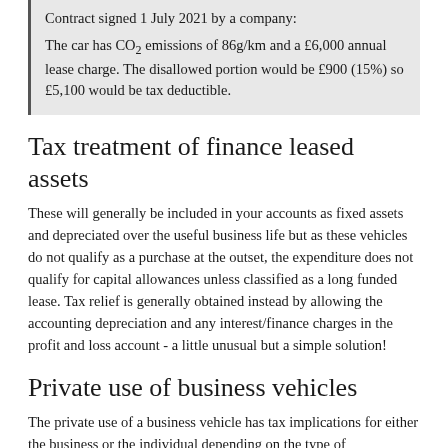Contract signed 1 July 2021 by a company:

The car has CO₂ emissions of 86g/km and a £6,000 annual lease charge. The disallowed portion would be £900 (15%) so £5,100 would be tax deductible.
Tax treatment of finance leased assets
These will generally be included in your accounts as fixed assets and depreciated over the useful business life but as these vehicles do not qualify as a purchase at the outset, the expenditure does not qualify for capital allowances unless classified as a long funded lease. Tax relief is generally obtained instead by allowing the accounting depreciation and any interest/finance charges in the profit and loss account - a little unusual but a simple solution!
Private use of business vehicles
The private use of a business vehicle has tax implications for either the business or the individual depending on the type of business vehicle.